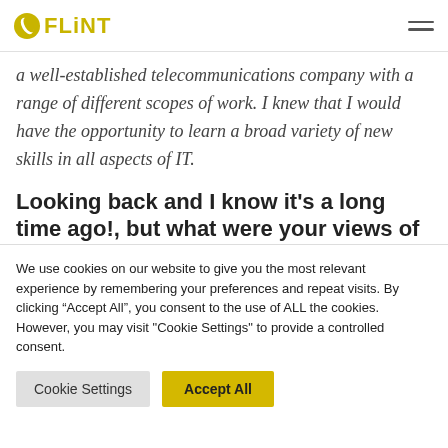FLINT
a well-established telecommunications company with a range of different scopes of work. I knew that I would have the opportunity to learn a broad variety of new skills in all aspects of IT.
Looking back and I know it's a long time ago!, but what were your views of Flint when joining?
We use cookies on our website to give you the most relevant experience by remembering your preferences and repeat visits. By clicking “Accept All”, you consent to the use of ALL the cookies. However, you may visit "Cookie Settings" to provide a controlled consent.